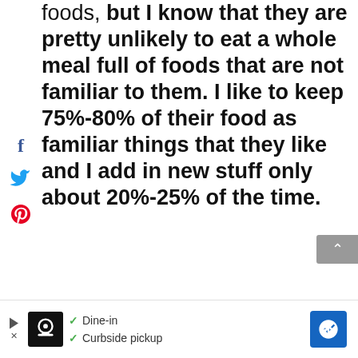foods, but I know that they are pretty unlikely to eat a whole meal full of foods that are not familiar to them. I like to keep 75%-80% of their food as familiar things that they like and I add in new stuff only about 20%-25% of the time.
[Figure (infographic): Social media sharing icons: Facebook (f), Twitter (bird), Pinterest (p) arranged vertically on the left side of the page]
[Figure (screenshot): Advertisement banner at bottom of page showing a restaurant listing with Dine-in and Curbside pickup options, with a play/close button on left, restaurant logo, checkmarks next to options, and a blue navigation arrow on right]